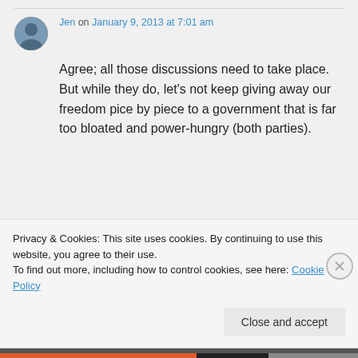Jen on January 9, 2013 at 7:01 am
Agree; all those discussions need to take place. But while they do, let's not keep giving away our freedom pice by piece to a government that is far too bloated and power-hungry (both parties).
Privacy & Cookies: This site uses cookies. By continuing to use this website, you agree to their use.
To find out more, including how to control cookies, see here: Cookie Policy
Close and accept